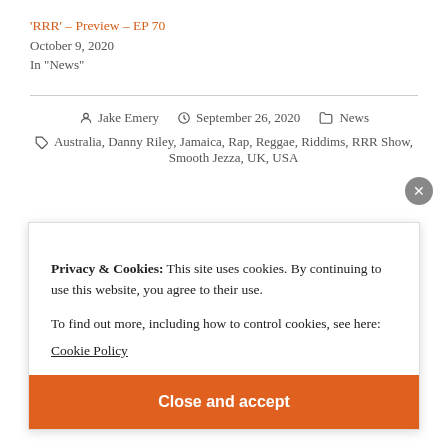'RRR' – Preview – EP 70
October 9, 2020
In "News"
Jake Emery   September 26, 2020   News
Australia, Danny Riley, Jamaica, Rap, Reggae, Riddims, RRR Show, Smooth Jezza, UK, USA
Privacy & Cookies: This site uses cookies. By continuing to use this website, you agree to their use.
To find out more, including how to control cookies, see here:
Cookie Policy
Close and accept